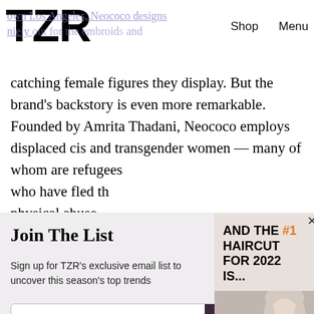TZR  Shop  Menu
catching female figures they display. But the brand's backstory is even more remarkable. Founded by Amrita Thadani, Neococo employs displaced cis and transgender women — many of whom are refugees who have fled th... physical abuse, ... provide opportu...
[Figure (other): Advertisement banner overlay: 'AND THE #1 HAIRCUT FOR 2022 IS...' with photo of blonde woman, with close button (×)]
Join The List
Sign up for TZR's exclusive email list to uncover this season's top trends
Email address  Subscribe